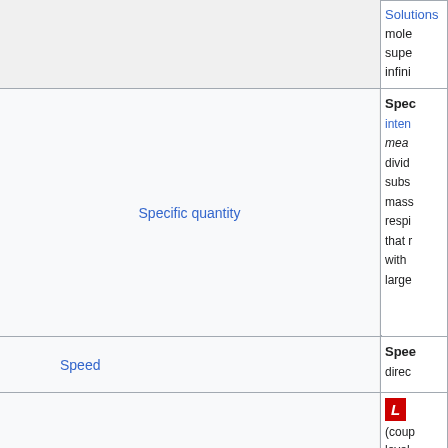| Term | Symbol/Unit | Description |
| --- | --- | --- |
| Solutions |  | mole... supe... infini... |
| Specific quantity |  | Spec... inten... mea... divid... subs... mass... respi... that r... with ... large... |
| Speed | v [m·s⁻¹] | Spee... direc... |
|  |  | L (coup... level... ener... |